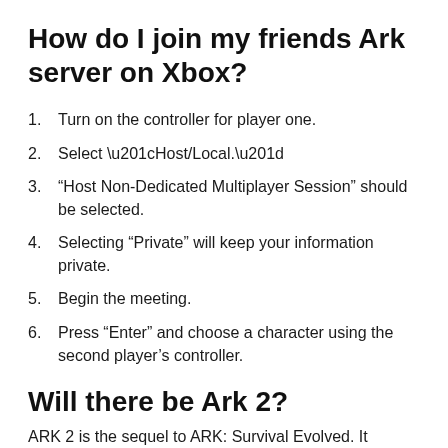How do I join my friends Ark server on Xbox?
Turn on the controller for player one.
Select “Host/Local.”
“Host Non-Dedicated Multiplayer Session” should be selected.
Selecting “Private” will keep your information private.
Begin the meeting.
Press “Enter” and choose a character using the second player’s controller.
Will there be Ark 2?
ARK 2 is the sequel to ARK: Survival Evolved. It...